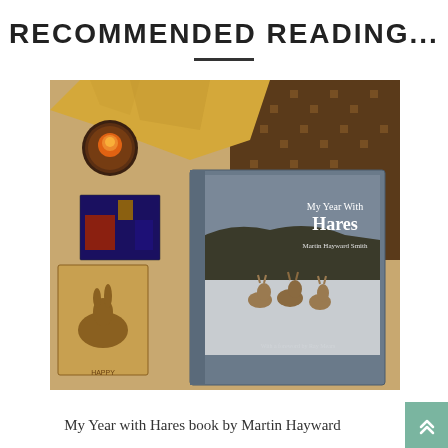RECOMMENDED READING...
[Figure (photo): A cozy scene showing the book 'My Year With Hares' by Martin Hayward Smith open on a blanket, alongside other books and a glowing candle. The main book shows hares in a snowy field on its cover.]
My Year with Hares book by Martin Hayward